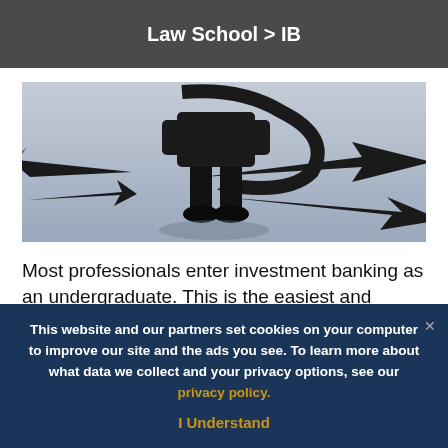Law School > IB
[Figure (photo): A person in a suit standing at a crossroads with multiple large black arrows pointing in different directions on a grey floor, viewed from behind/below waist level.]
Most professionals enter investment banking as an undergraduate. This is the easiest and cheapest way to get into the industry, but you must decide very early on that you
This website and our partners set cookies on your computer to improve our site and the ads you see. To learn more about what data we collect and your privacy options, see our privacy policy.
I Understand